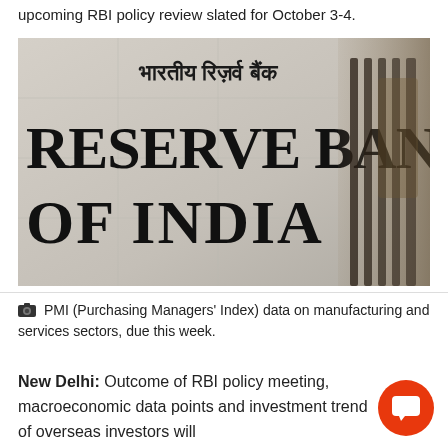upcoming RBI policy review slated for October 3-4.
[Figure (photo): Photo of the Reserve Bank of India building exterior showing Hindi text 'भारतीय रिज़र्व बैंक' above 'RESERVE BANK OF INDIA' on the wall, with metal gate visible on the right side.]
PMI (Purchasing Managers' Index) data on manufacturing and services sectors, due this week.
New Delhi: Outcome of RBI policy meeting, macroeconomic data points and investment trend of overseas investors will